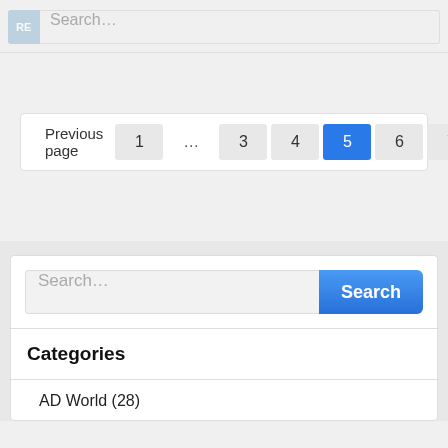[Figure (screenshot): Search input bar with RE button on left and placeholder text 'Search...']
[Figure (screenshot): Pagination control showing: Previous page, 1, ..., 3, 4, [5 active], 6, 7, ..., 51]
[Figure (screenshot): Search widget with input field placeholder 'Search...' and blue Search button]
Categories
AD World (28)